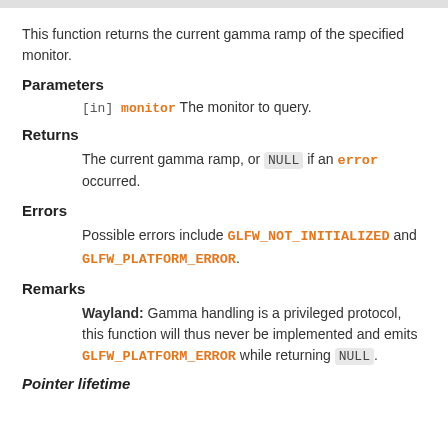This function returns the current gamma ramp of the specified monitor.
Parameters
[in] monitor The monitor to query.
Returns
The current gamma ramp, or NULL if an error occurred.
Errors
Possible errors include GLFW_NOT_INITIALIZED and GLFW_PLATFORM_ERROR.
Remarks
Wayland: Gamma handling is a privileged protocol, this function will thus never be implemented and emits GLFW_PLATFORM_ERROR while returning NULL.
Pointer lifetime